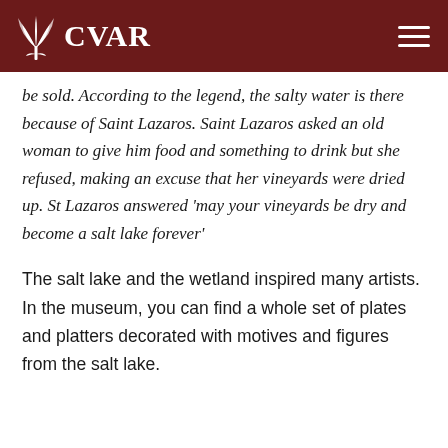CVAR
be sold. According to the legend, the salty water is there because of Saint Lazaros. Saint Lazaros asked an old woman to give him food and something to drink but she refused, making an excuse that her vineyards were dried up. St Lazaros answered ‘may your vineyards be dry and become a salt lake forever’
The salt lake and the wetland inspired many artists. In the museum, you can find a whole set of plates and platters decorated with motives and figures from the salt lake.